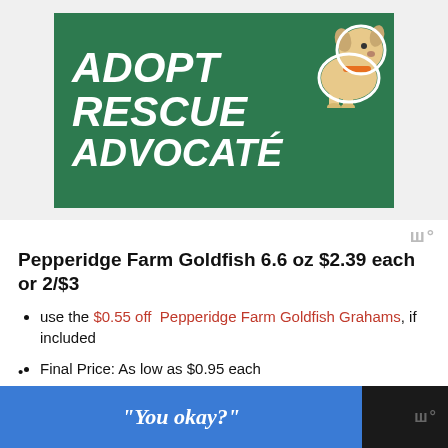[Figure (illustration): Green banner advertisement with white bold italic text reading ADOPT RESCUE ADVOCATE and a cartoon dog illustration in the upper right corner]
Pepperidge Farm Goldfish 6.6 oz $2.39 each or 2/$3
use the $0.55 off  Pepperidge Farm Goldfish Grahams, if included
Final Price: As low as $0.95 each
Old El Paso Taco Shells 12 ct. $0.99
[Figure (screenshot): Blue advertisement banner with white italic text reading "You okay?" and a dark background with a wordmark watermark on the right]